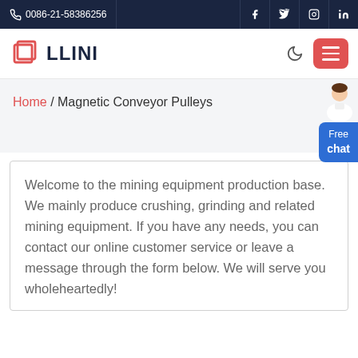0086-21-58386256
[Figure (logo): LLINI company logo with red square icon and dark blue text]
Home / Magnetic Conveyor Pulleys
Welcome to the mining equipment production base. We mainly produce crushing, grinding and related mining equipment. If you have any needs, you can contact our online customer service or leave a message through the form below. We will serve you wholeheartedly!